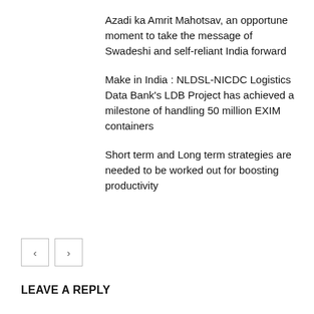Azadi ka Amrit Mahotsav, an opportune moment to take the message of Swadeshi and self-reliant India forward
Make in India : NLDSL-NICDC Logistics Data Bank's LDB Project has achieved a milestone of handling 50 million EXIM containers
Short term and Long term strategies are needed to be worked out for boosting productivity
LEAVE A REPLY